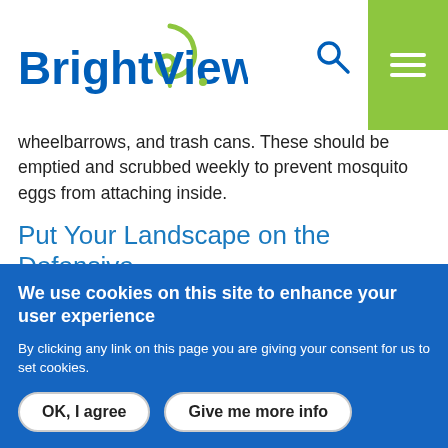BrightView
wheelbarrows, and trash cans. These should be emptied and scrubbed weekly to prevent mosquito eggs from attaching inside.
Put Your Landscape on the Defensive
Some plants emit smells that naturally deter mosquitoes, but have an aroma and appearance that's pleasing to humans. Thankfully, many of these plants are common and readily available. If you guessed citronella grass is one such
We use cookies on this site to enhance your user experience
By clicking any link on this page you are giving your consent for us to set cookies.
OK, I agree
Give me more info